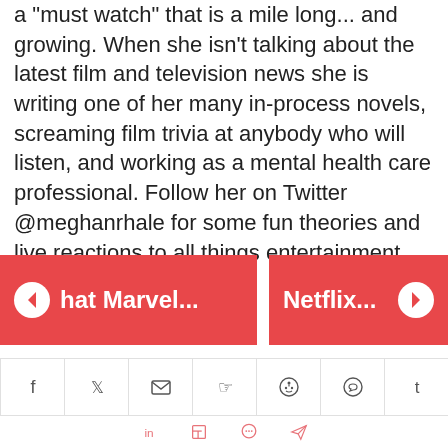a "must watch" that is a mile long... and growing. When she isn't talking about the latest film and television news she is writing one of her many in-process novels, screaming film trivia at anybody who will listen, and working as a mental health care professional. Follow her on Twitter @meghanrhale for some fun theories and live reactions to all things entertainment.
[Figure (infographic): Two red navigation buttons: left button with back arrow icon and text 'hat Marvel...', right button with text 'Netflix...' and a forward arrow icon]
[Figure (infographic): Social media share icons row: Facebook, Twitter, Email, Pinterest, Reddit, WhatsApp, Tumblr]
[Figure (infographic): Second row of social media icons in salmon/pink color: LinkedIn, Flipboard, and two others]